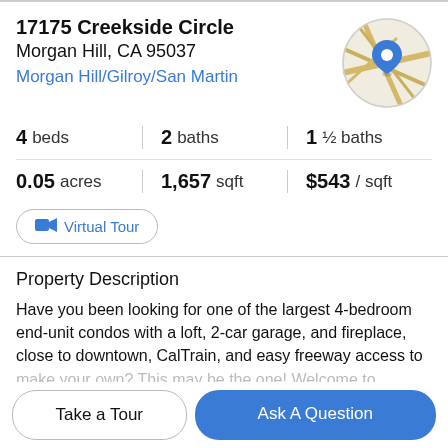17175 Creekside Circle
Morgan Hill, CA 95037
Morgan Hill/Gilroy/San Martin
[Figure (map): Circular map thumbnail showing street map with a blue location pin marker]
4 beds | 2 baths | 1 ½ baths
0.05 acres | 1,657 sqft | $543 / sqft
Virtual Tour
Property Description
Have you been looking for one of the largest 4-bedroom end-unit condos with a loft, 2-car garage, and fireplace, close to downtown, CalTrain, and easy freeway access to make your own? This may be the one! Welcome to
Take a Tour
Ask A Question